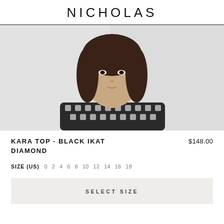NICHOLAS
[Figure (photo): A young woman with short wavy brown hair, wearing a black and white geometric print top, photographed against a light grey background from the shoulders up.]
KARA TOP - BLACK IKAT DIAMOND
$148.00
SIZE (US)  0  2  4  6  8  10  12  14  16  18
SELECT SIZE